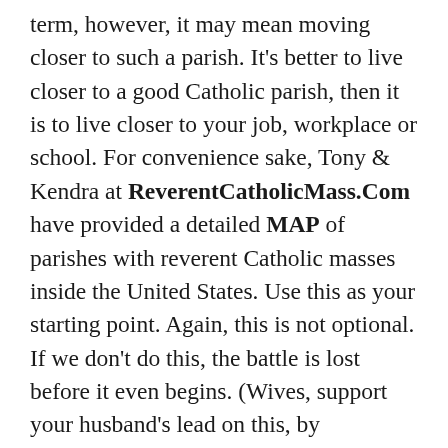term, however, it may mean moving closer to such a parish. It's better to live closer to a good Catholic parish, then it is to live closer to your job, workplace or school. For convenience sake, Tony & Kendra at ReverentCatholicMass.Com have provided a detailed MAP of parishes with reverent Catholic masses inside the United States. Use this as your starting point. Again, this is not optional. If we don't do this, the battle is lost before it even begins. (Wives, support your husband's lead on this, by immediately networking within a new parish, once you and your husband find a good one that works well with your family.)